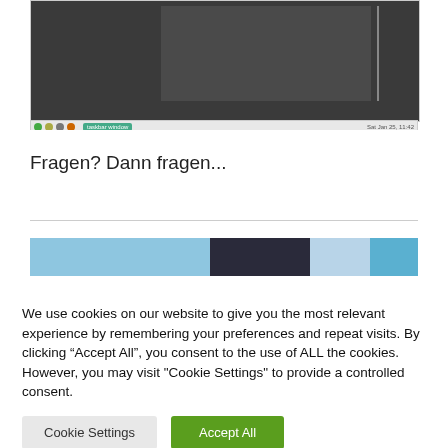[Figure (screenshot): Screenshot of a dark-themed desktop application window with a toolbar/taskbar at the bottom showing colored dots and a green button labeled with text, and system tray icons on the right.]
Fragen? Dann fragen...
[Figure (photo): Partial image strip showing a blue and dark colored photo, cut off at the bottom.]
We use cookies on our website to give you the most relevant experience by remembering your preferences and repeat visits. By clicking “Accept All”, you consent to the use of ALL the cookies. However, you may visit "Cookie Settings" to provide a controlled consent.